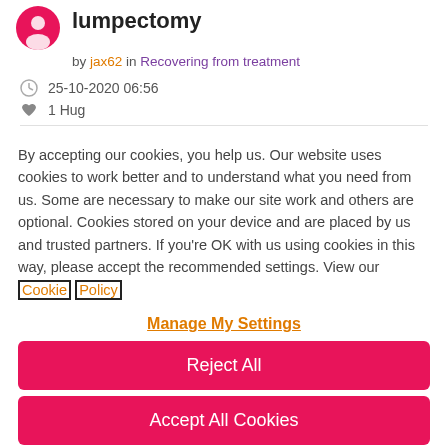lumpectomy
by jax62 in Recovering from treatment
25-10-2020 06:56
1 Hug
By accepting our cookies, you help us. Our website uses cookies to work better and to understand what you need from us. Some are necessary to make our site work and others are optional. Cookies stored on your device and are placed by us and trusted partners. If you're OK with us using cookies in this way, please accept the recommended settings. View our Cookie Policy
Manage My Settings
Reject All
Accept All Cookies